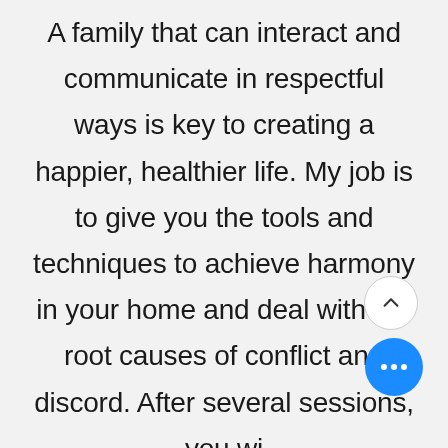A family that can interact and communicate in respectful ways is key to creating a happier, healthier life. My job is to give you the tools and techniques to achieve harmony in your home and deal with the root causes of conflict and discord. After several sessions, you wi...